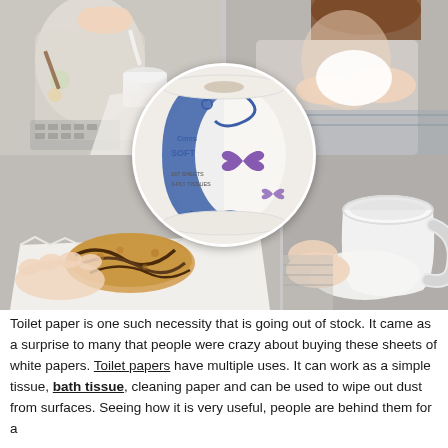[Figure (photo): Collage of four photos showing multiple uses of toilet paper: top-left shows a person pouring liquid near a white paper/tissue, top-right shows a person blowing nose with tissue, bottom-left shows a cookie resting on a white tissue/paper, bottom-right shows a person wiping a white cup with tissue. In the center of the collage is a circular inset showing a roll of toilet paper with blue and white packaging decorated with butterfly motifs.]
Toilet paper is one such necessity that is going out of stock. It came as a surprise to many that people were crazy about buying these sheets of white papers. Toilet papers have multiple uses. It can work as a simple tissue, bath tissue, cleaning paper and can be used to wipe out dust from surfaces. Seeing how it is very useful, people are behind them for a